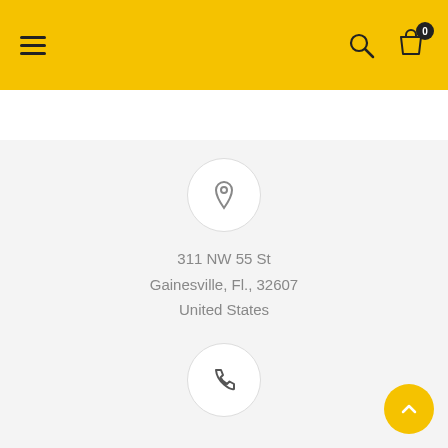[Figure (screenshot): Yellow navigation header bar with hamburger menu icon on left, search and shopping bag icons on right with badge showing 0]
311 NW 55 St
Gainesville, Fl., 32607
United States
(352) 269-8052